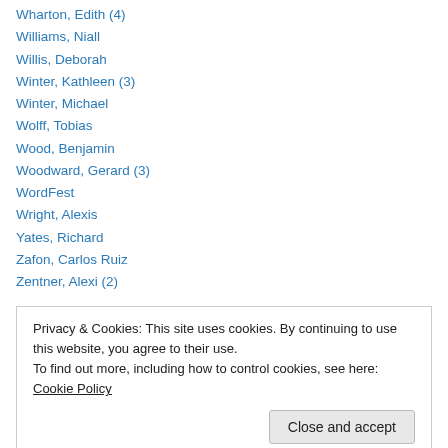Wharton, Edith (4)
Williams, Niall
Willis, Deborah
Winter, Kathleen (3)
Winter, Michael
Wolff, Tobias
Wood, Benjamin
Woodward, Gerard (3)
WordFest
Wright, Alexis
Yates, Richard
Zafon, Carlos Ruiz
Zentner, Alexi (2)
Privacy & Cookies: This site uses cookies. By continuing to use this website, you agree to their use. To find out more, including how to control cookies, see here: Cookie Policy
Close and accept
From Page to Stage, Part One